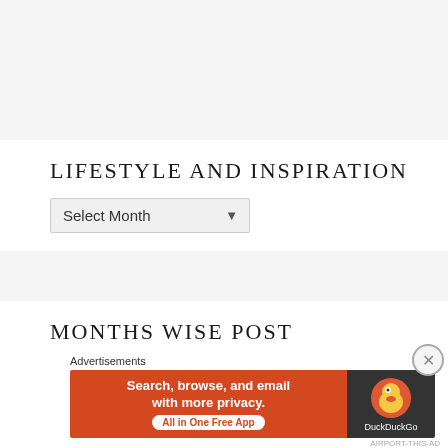LIFESTYLE AND INSPIRATION
Select Month
MONTHS WISE POST
Advertisements
[Figure (screenshot): DuckDuckGo advertisement banner: orange left side with text 'Search, browse, and email with more privacy. All in One Free App', dark right side with DuckDuckGo duck logo and brand name.]